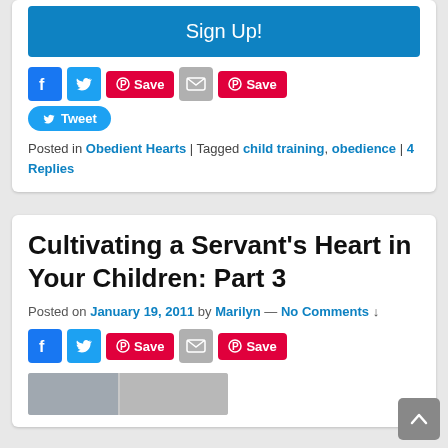Sign Up!
[Figure (infographic): Social sharing buttons: Facebook, Twitter, Pinterest Save, Email, Pinterest Save, and Tweet button]
Posted in Obedient Hearts | Tagged child training, obedience | 4 Replies
Cultivating a Servant's Heart in Your Children: Part 3
Posted on January 19, 2011 by Marilyn — No Comments ↓
[Figure (infographic): Social sharing buttons: Facebook, Twitter, Pinterest Save, Email, Pinterest Save]
[Figure (photo): Partially visible article image at the bottom of the page]